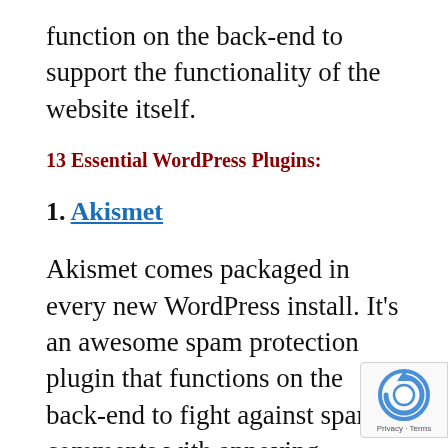function on the back-end to support the functionality of the website itself.
13 Essential WordPress Plugins:
1. Akismet
Akismet comes packaged in every new WordPress install. It's an awesome spam protection plugin that functions on the back-end to fight against spam comments with annoying readers with Captcha